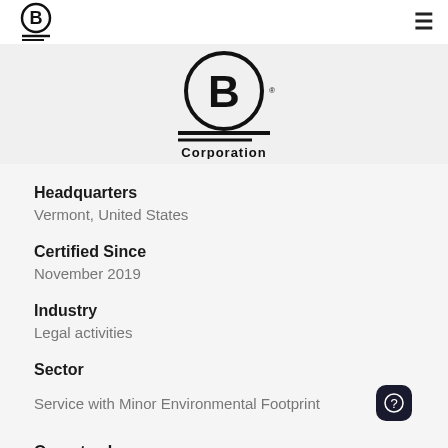B Corporation (logo) | menu
[Figure (logo): B Corporation logo — circular B with two horizontal lines underneath, text 'Corporation' below]
Headquarters
Vermont, United States
Certified Since
November 2019
Industry
Legal activities
Sector
Service with Minor Environmental Footprint
Operates In
United States